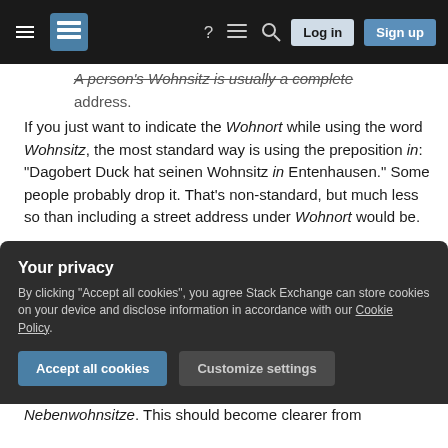[Figure (screenshot): Stack Exchange navigation bar with hamburger menu, logo, help icon, chat icon, search icon, Log in and Sign up buttons]
A person's Wohnsitz is usually a complete address.
If you just want to indicate the Wohnort while using the word Wohnsitz, the most standard way is using the preposition in: "Dagobert Duck hat seinen Wohnsitz in Entenhausen." Some people probably drop it. That's non-standard, but much less so than including a street address under Wohnort would be.
The second difference is that, unlike the plain and normal word Wohnort, Wohnsitz is primarily a
Your privacy
By clicking "Accept all cookies", you agree Stack Exchange can store cookies on your device and disclose information in accordance with our Cookie Policy.
Nebenwohnsitze. This should become clearer from